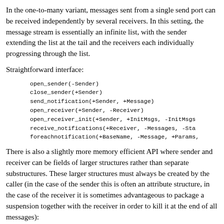In the one-to-many variant, messages sent from a single send port can be received independently by several receivers. In this setting, the message stream is essentially an infinite list, with the sender extending the list at the tail and the receivers each individually progressing through the list.
Straightforward interface:
open_sender(-Sender)
close_sender(+Sender)
send_notification(+Sender, +Message)
open_receiver(+Sender, -Receiver)
open_receiver_init(+Sender, +InitMsgs, -InitMsgs
receive_notifications(+Receiver, -Messages, -Sta
foreachnotification(+BaseName, -Message, +Params,
There is also a slightly more memory efficient API where sender and receiver can be fields of larger structures rather than separate substructures. These larger structures must always be created by the caller (in the case of the sender this is often an attribute structure, in the case of the receiver it is sometimes advantageous to package a suspension together with the receiver in order to kill it at the end of all messages):
open_sender(+SendPos, +SendStruct)
close_sender(+SendPos, +SendStruct)
send_notification(+SendPos, +SendStruct, +Message